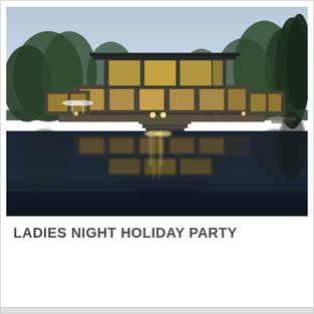[Figure (photo): Evening/dusk photograph of a modern two-story building with large glass windows and flat roof extensions, reflected perfectly in a still pond or lake in the foreground. Trees are visible in the background and on the sides. The building's interior lights glow warm amber. The water reflection mirrors the building and lights below.]
LADIES NIGHT HOLIDAY PARTY